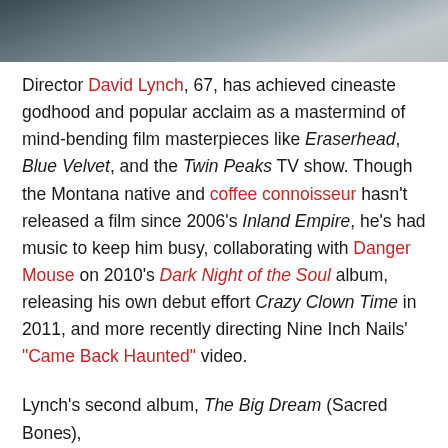[Figure (photo): Top portion of a photo showing a person, cropped to a dark strip at the top of the page]
Director David Lynch, 67, has achieved cineaste godhood and popular acclaim as a mastermind of mind-bending film masterpieces like Eraserhead, Blue Velvet, and the Twin Peaks TV show. Though the Montana native and coffee connoisseur hasn't released a film since 2006's Inland Empire, he's had music to keep him busy, collaborating with Danger Mouse on 2010's Dark Night of the Soul album, releasing his own debut effort Crazy Clown Time in 2011, and more recently directing Nine Inch Nails' "Came Back Haunted" video.
Lynch's second album, The Big Dream (Sacred Bones), is out July 16. The album sounds pretty much exactly